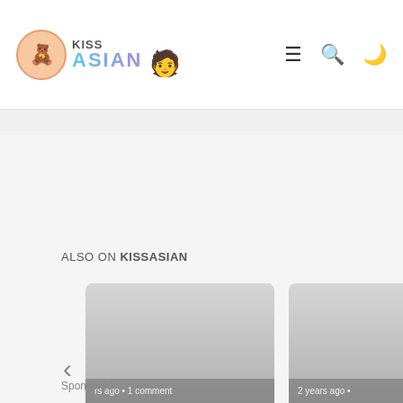KISSASIAN
ALSO ON KISSASIAN
[Figure (screenshot): Article card: shows 'rs ago • 1 comment' and title 'Idol Trainer Points Out Serious ...']
[Figure (screenshot): Article card: shows '2 years ago •' and title 'BTS's Jungl And RM Hav Joined The']
Sponsored